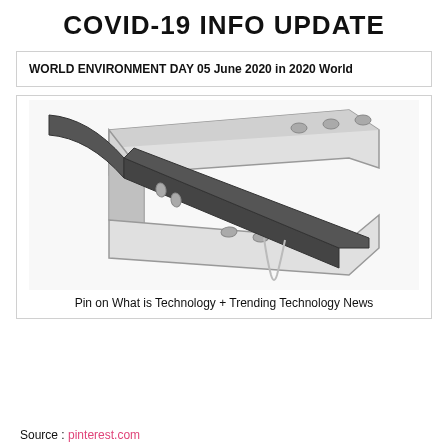COVID-19 INFO UPDATE
WORLD ENVIRONMENT DAY 05 June 2020 in 2020 World
[Figure (illustration): Technical illustration of a flat cable or strap threaded through a slotted bracket/clamp, shown in a 3D isometric perspective with grey shading.]
Pin on What is Technology + Trending Technology News
Source : pinterest.com